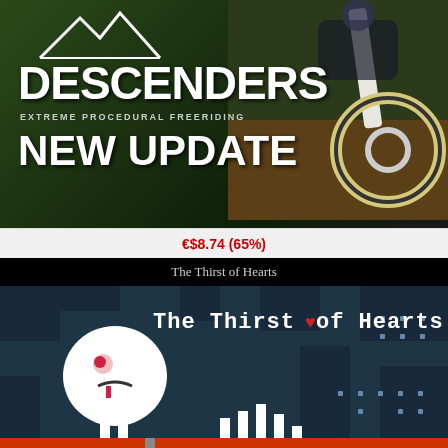[Figure (screenshot): Descenders game promotional banner with mountain bike rider on right, dark forest background, white mountain logo, bold white text reading DESCENDERS EXTREME PROCEDURAL FREERIDING NEW UPDATE]
€$8.74 (65%)
The Thirst of Hearts
[Figure (screenshot): The Thirst of Hearts pixel art game screenshot showing a white round character with a sad face in a dark teal maze environment with white text logo at top]